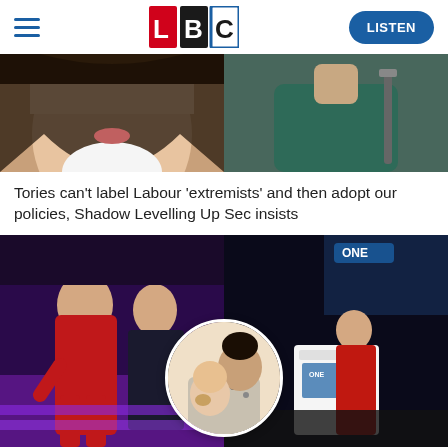LBC — LISTEN
[Figure (photo): Two cropped photos side by side: left shows a woman's face close-up with dark hair and white top; right shows a person in a dark teal/green top]
Tories can't label Labour 'extremists' and then adopt our policies, Shadow Levelling Up Sec insists
[Figure (photo): Composite of photos: left shows Meghan Markle in red outfit sitting with Prince Harry at an event with purple lighting; right shows Meghan Markle at a white podium on stage in red outfit; circular inset at bottom center shows Meghan with baby Archie]